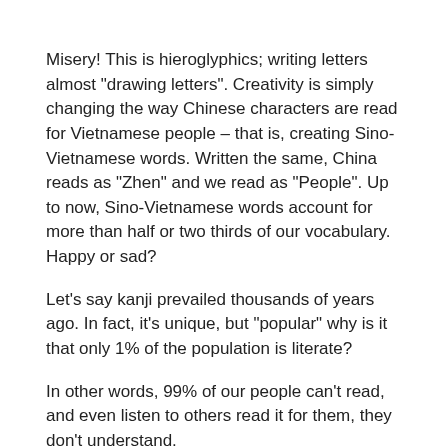Misery! This is hieroglyphics; writing letters almost "drawing letters". Creativity is simply changing the way Chinese characters are read for Vietnamese people – that is, creating Sino-Vietnamese words. Written the same, China reads as "Zhen" and we read as "People". Up to now, Sino-Vietnamese words account for more than half or two thirds of our vocabulary. Happy or sad?
Let's say kanji prevailed thousands of years ago. In fact, it's unique, but "popular" why is it that only 1% of the population is literate?
In other words, 99% of our people can't read, and even listen to others read it for them, they don't understand.
Certainly, 99% of our ancestors in the past heard the sentences "Study children are indifferent, penitents are not mixed" (studying is not boring, teaching people is not